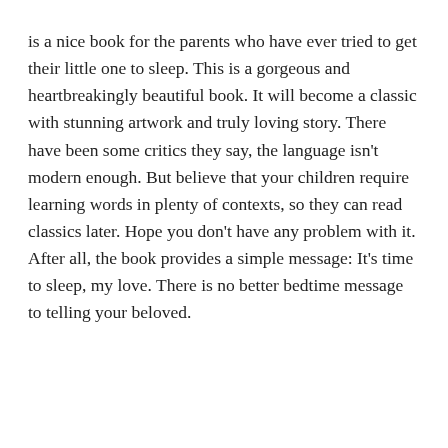is a nice book for the parents who have ever tried to get their little one to sleep. This is a gorgeous and heartbreakingly beautiful book. It will become a classic with stunning artwork and truly loving story. There have been some critics they say, the language isn't modern enough. But believe that your children require learning words in plenty of contexts, so they can read classics later. Hope you don't have any problem with it. After all, the book provides a simple message: It's time to sleep, my love. There is no better bedtime message to telling your beloved.